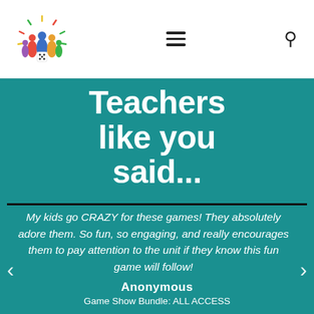[Figure (logo): Colorful board game figures logo with dice and radiating lines]
Teachers like you said...
My kids go CRAZY for these games! They absolutely adore them. So fun, so engaging, and really encourages them to pay attention to the unit if they know this fun game will follow!
Anonymous
Game Show Bundle: ALL ACCESS